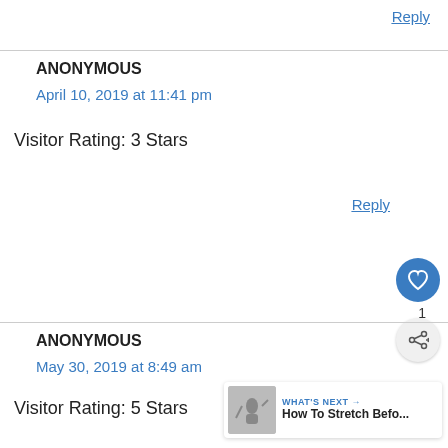Reply
ANONYMOUS
April 10, 2019 at 11:41 pm
Visitor Rating: 3 Stars
Reply
ANONYMOUS
May 30, 2019 at 8:49 am
Visitor Rating: 5 Stars